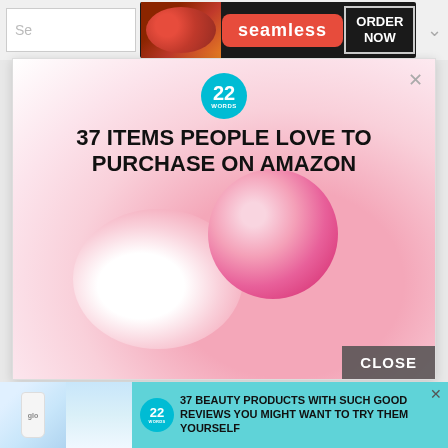[Figure (screenshot): Seamless food delivery banner ad with pizza image, 'seamless' logo in red, and 'ORDER NOW' button on dark background]
[Figure (screenshot): Popup ad showing a pink makeup brush/kabuki brush on white background with '22 WORDS' circular teal logo and bold headline '37 ITEMS PEOPLE LOVE TO PURCHASE ON AMAZON'. Has X close button top right and gray CLOSE button bottom right.]
[Figure (screenshot): Bottom banner ad on teal/cyan background showing beauty products (nail polish bottle labeled 'glo', woman with mist), '22 WORDS' circular logo, and headline '37 BEAUTY PRODUCTS WITH SUCH GOOD REVIEWS YOU MIGHT WANT TO TRY THEM YOURSELF'. Has X close button.]